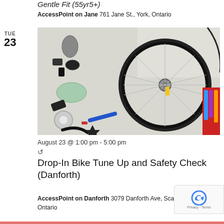Gentle Fit (55yr5+)
AccessPoint on Jane 761 Jane St., York, Ontario
TUE
23
[Figure (photo): A bicycle wheel and various bike parts and tools laid out on a white surface, viewed from above.]
August 23 @ 1:00 pm - 5:00 pm
Drop-In Bike Tune Up and Safety Check (Danforth)
AccessPoint on Danforth 3079 Danforth Ave, Scarborough, Ontario